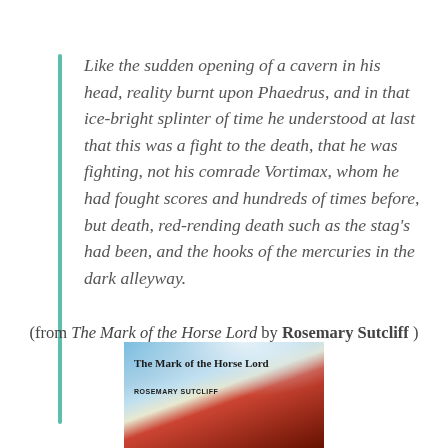Like the sudden opening of a cavern in his head, reality burnt upon Phaedrus, and in that ice-bright splinter of time he understood at last that this was a fight to the death, that he was fighting, not his comrade Vortimax, whom he had fought scores and hundreds of times before, but death, red-rending death such as the stag's had been, and the hooks of the mercuries in the dark alleyway.
(from The Mark of the Horse Lord by Rosemary Sutcliff )
[Figure (illustration): Book cover of 'The Mark of the Horse Lord' by Rosemary Sutcliff, showing a painted illustration with blue sky/snow at top and red/dark tones at bottom, with the title and author name overlaid.]